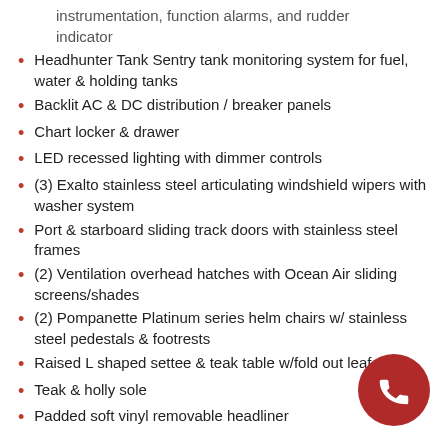instrumentation, function alarms, and rudder indicator
Headhunter Tank Sentry tank monitoring system for fuel, water & holding tanks
Backlit AC & DC distribution / breaker panels
Chart locker & drawer
LED recessed lighting with dimmer controls
(3) Exalto stainless steel articulating windshield wipers with washer system
Port & starboard sliding track doors with stainless steel frames
(2) Ventilation overhead hatches with Ocean Air sliding screens/shades
(2) Pompanette Platinum series helm chairs w/ stainless steel pedestals & footrests
Raised L shaped settee & teak table w/fold out leaf
Teak & holly sole
Padded soft vinyl removable headliner
[Figure (other): Red circular phone call button in the bottom right corner]